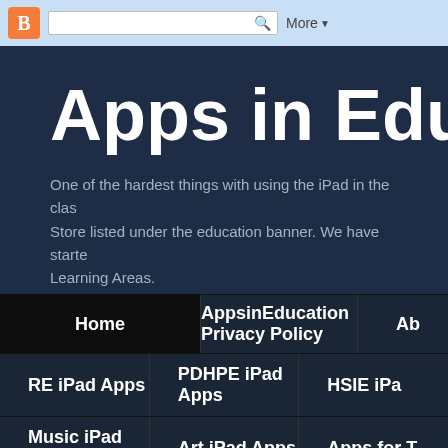[Figure (screenshot): Blogger top navigation bar with orange B icon, search box with magnifying glass, and More dropdown button]
Apps in Educati
One of the hardest things with using the iPad in the clas... Store listed under the education banner. We have starte... Learning Areas.
Home
AppsinEducation Privacy Policy
Ab
RE iPad Apps
PDHPE iPad Apps
HSIE iPa
Music iPad Apps
Art iPad Apps
Apps for T